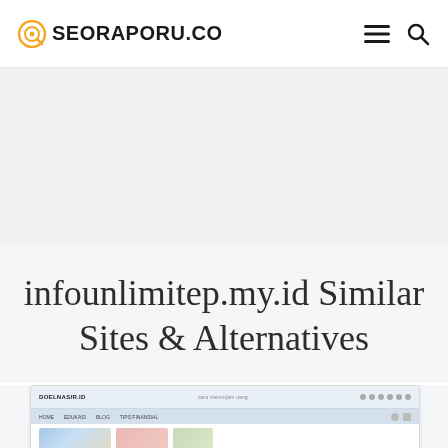SEORAPORU.CO
infounlimitep.my.id Similar Sites & Alternatives
[Figure (screenshot): Screenshot preview of a website called DOELNASIR.ID showing its header navigation bar and partial content with thumbnail images]